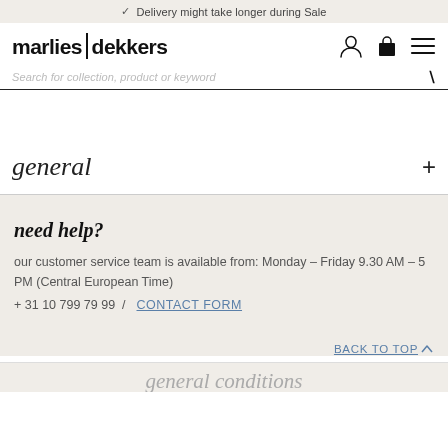✓ Delivery might take longer during Sale
[Figure (logo): marlies|dekkers logo with person icon, shopping bag icon, and hamburger menu icon]
Search for collection, product or keyword
general
need help?
our customer service team is available from: Monday – Friday 9.30 AM – 5 PM (Central European Time)
+ 31 10 799 79 99 / CONTACT FORM
BACK TO TOP
general conditions